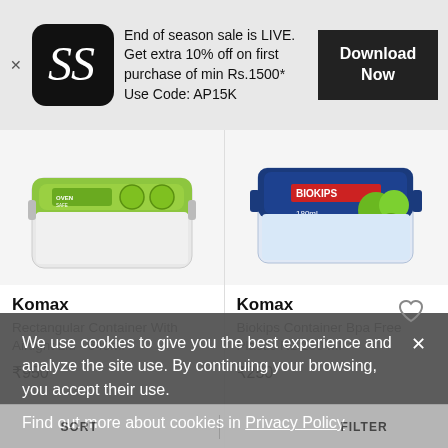[Figure (screenshot): App advertisement banner: S logo app icon on black rounded square background, text about end of season sale, Use Code AP15K, and Download Now button]
[Figure (photo): Komax Rectangular Container With Airtight Lid 640ml product image showing green-lidded glass container]
Komax
Rectangular Container With Airtight Lid - 640ml
₹950
[Figure (photo): Komax Biokips Container Bpa Free Plastic R1 180 Ml product image showing blue-lidded plastic container with green apples]
Komax
Biokips Container Bpa Free Plastic R1 180 Ml
₹250
We use cookies to give you the best experience and analyze the site use. By continuing your browsing, you accept their use.
Find out more about cookies in Privacy Policy